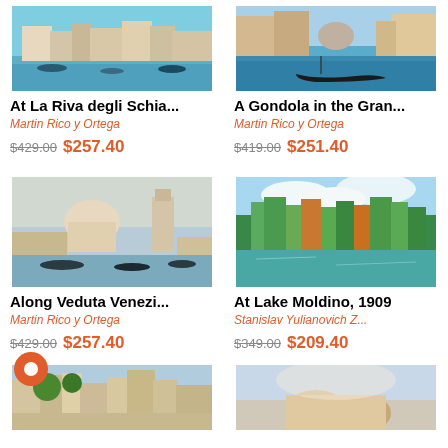[Figure (illustration): Painting: At La Riva degli Schiavoni, Venice waterfront scene with boats]
At La Riva degli Schia...
Martin Rico y Ortega
$429.00  $257.40
[Figure (illustration): Painting: A Gondola in the Grand Canal, Venice canal scene]
A Gondola in the Gran...
Martin Rico y Ortega
$419.00  $251.40
[Figure (illustration): Painting: Along Veduta Veneziana, Venice waterfront with dome]
Along Veduta Venezi...
Martin Rico y Ortega
$429.00  $257.40
[Figure (illustration): Painting: At Lake Moldino 1909, summer lake landscape with trees]
At Lake Moldino, 1909
Stanislav Yulianovich Z...
$349.00  $209.40
[Figure (illustration): Partial painting at bottom left: Venice street scene]
[Figure (illustration): Partial painting at bottom right: partially visible painting]